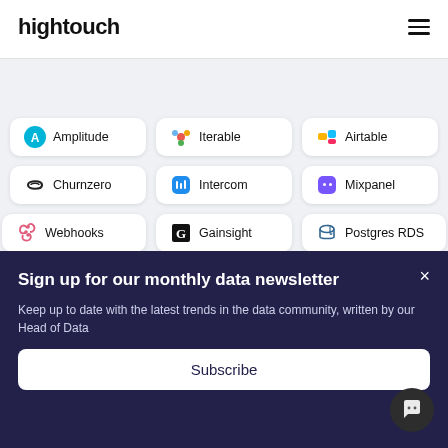hightouch
[Figure (infographic): Grid of 9 integration cards: Amplitude, Iterable, Airtable, Churnzero, Intercom, Mixpanel, Webhooks, Gainsight, Postgres RDS]
Sign up for our monthly data newsletter
Keep up to date with the latest trends in the data community, written by our Head of Data
Subscribe